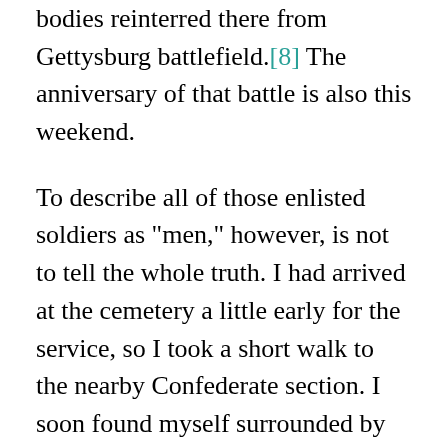bodies reinterred there from Gettysburg battlefield.[8] The anniversary of that battle is also this weekend.
To describe all of those enlisted soldiers as "men," however, is not to tell the whole truth. I had arrived at the cemetery a little early for the service, so I took a short walk to the nearby Confederate section. I soon found myself surrounded by the graves of hundreds and hundreds of soldiers. The headstones with dates on them testified to the fact that too many of those buried in the ground had been teenage boys when they left home to fight. They had their whole lives ahead of them.
An important difference between the hills of